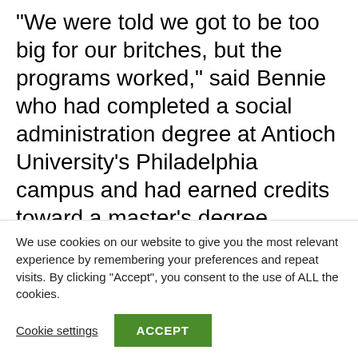“We were told we got to be too big for our britches, but the programs worked,” said Bennie who had completed a social administration degree at Antioch University’s Philadelphia campus and had earned credits toward a master’s degree. Individuals like Ron Bloomberg, who later became a famous Hollywood writer, helped create a concern for minority kids who were dying in the streets, Bennie said.
We use cookies on our website to give you the most relevant experience by remembering your preferences and repeat visits. By clicking “Accept”, you consent to the use of ALL the cookies.